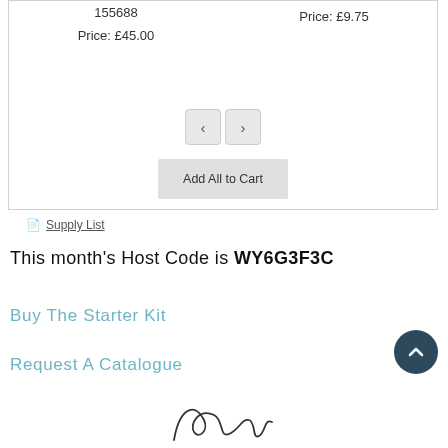155688
Price: £45.00
Price: £9.75
[Figure (screenshot): Navigation arrows (left and right chevrons) and Add All to Cart button inside a product card box]
Supply List
This month's Host Code is WY6G3F3C
Buy The Starter Kit
Request A Catalogue
[Figure (illustration): Scroll to top circular dark button with upward chevron arrow]
[Figure (illustration): Handwritten signature in cursive script]